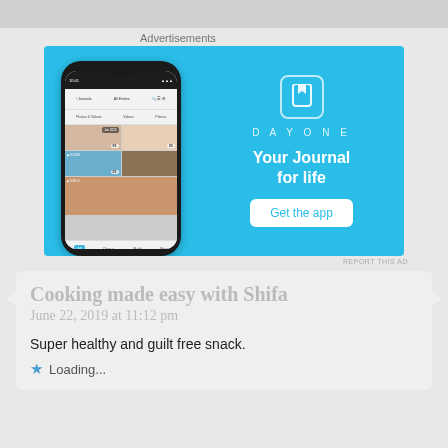Advertisements
[Figure (screenshot): DayOne app advertisement with phone mockup showing journal app and text 'Your Journal for life' with 'Get the app' button on blue background]
REPORT THIS AD
Cooking made easy with Shifa
June 22, 2019 at 11:12 pm
Super healthy and guilt free snack.
Loading...